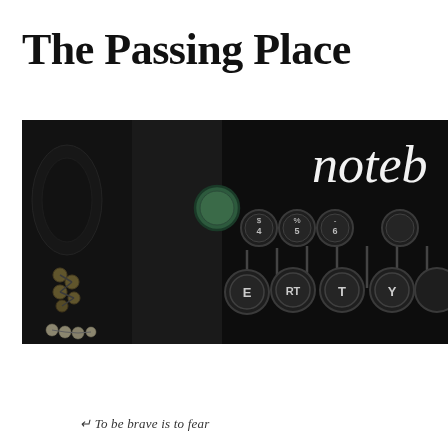The Passing Place
[Figure (photo): Close-up photograph of a vintage black typewriter keyboard with circular keys showing letters E, R, T, Y and numbers 4, 5, 6 visible. The word 'noteb' appears in white text overlay on the right side of the image. The image is dark and moody.]
Home   Hannibal   Passing Place   Cider Lane   Publi...   The Elf King's Thingy   Bookshop
To be brave is to fear...